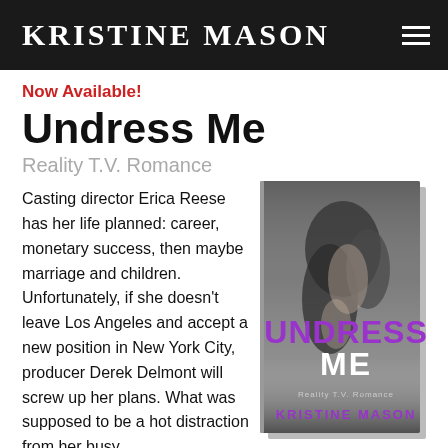Kristine Mason
Now Available!
Undress Me
Reality T.V. Romance
Casting director Erica Reese has her life planned: career, monetary success, then maybe marriage and children. Unfortunately, if she doesn't leave Los Angeles and accept a new position in New York City, producer Derek Delmont will screw up her plans. What was supposed to be a hot distraction from her busy
[Figure (photo): Book cover for 'Undress Me' by Kristine Mason — Reality T.V. Romance. Black and white image of embracing couple with purple bold title text 'UNDRESS ME' and author name 'KRISTINE MASON' at bottom.]